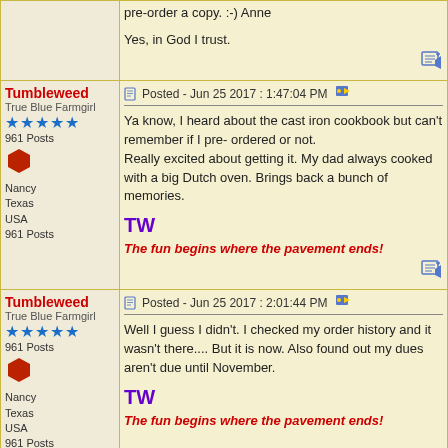pre-order a copy. :-) Anne

Yes, in God I trust.
Tumbleweed
True Blue Farmgirl
961 Posts
Nancy
Texas
USA
961 Posts
Posted - Jun 25 2017 :  1:47:04 PM
Ya know, I heard about the cast iron cookbook but can't remember if I pre- ordered or not.
Really excited about getting it. My dad always cooked with a big Dutch oven. Brings back a bunch of memories.
TW
The fun begins where the pavement ends!
Tumbleweed
True Blue Farmgirl
961 Posts
Nancy
Texas
USA
961 Posts
Posted - Jun 25 2017 :  2:01:44 PM
Well I guess I didn't. I checked my order history and it wasn't there.... But it is now. Also found out my dues aren't due until November.
TW
The fun begins where the pavement ends!